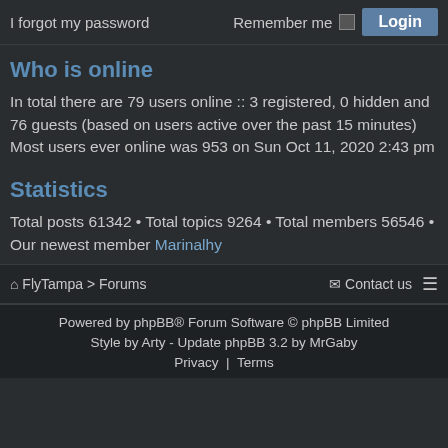I forgot my password   Remember me  Login
Who is online
In total there are 79 users online :: 3 registered, 0 hidden and 76 guests (based on users active over the past 15 minutes)
Most users ever online was 953 on Sun Oct 11, 2020 2:43 pm
Statistics
Total posts 61342 • Total topics 9264 • Total members 56546 • Our newest member Marinalhy
FlyTampa > Forums   Contact us  ≡
Powered by phpBB® Forum Software © phpBB Limited
Style by Arty - Update phpBB 3.2 by MrGaby
Privacy | Terms